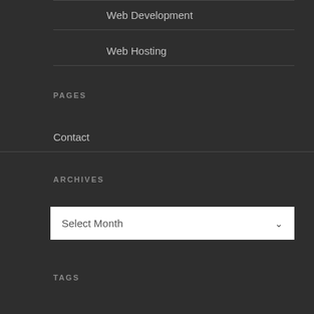Web Development
Web Hosting
PAGES
Contact
ARCHIVES
Select Month
TAGS